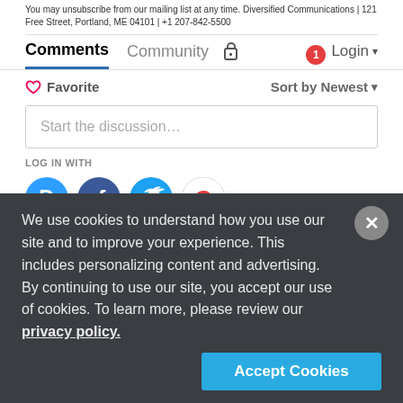You may unsubscribe from our mailing list at any time. Diversified Communications | 121 Free Street, Portland, ME 04101 | +1 207-842-5500
Comments  Community  Login
Favorite  Sort by Newest
Start the discussion…
LOG IN WITH
[Figure (infographic): Four social login icons: Disqus (blue circle with D), Facebook (dark blue circle with f), Twitter (light blue circle with bird), Google (white/red circle with G)]
OR SIGN UP WITH DISQUS
Name
We use cookies to understand how you use our site and to improve your experience. This includes personalizing content and advertising. By continuing to use our site, you accept our use of cookies. To learn more, please review our privacy policy.